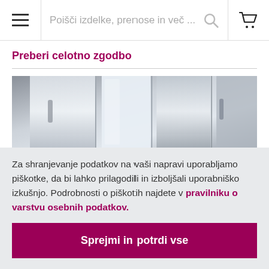Poišči izdelke, prenose in več ...
Preberi celotno zgodbo
[Figure (photo): Industrial stainless steel equipment, metallic surfaces with panels and handles, blue-grey toned product photography]
Za shranjevanje podatkov na vaši napravi uporabljamo piškotke, da bi lahko prilagodili in izboljšali uporabniško izkušnjo. Podrobnosti o piškotih najdete v pravilniku o varstvu osebnih podatkov.
Sprejmi in potrdi vse
Prilagodi nastavitve